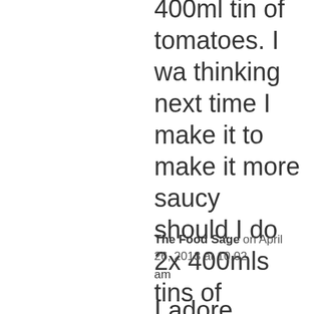400ml tin of tomatoes. I wa thinking next time I make it to make it more saucy should I do 2x 400mls tins of coconut milk and 2x 400ml crushed tomatoes and double the spices as well.
The Food Sage on April 26, 2013 at 10.02 am
I adore curries, especially in